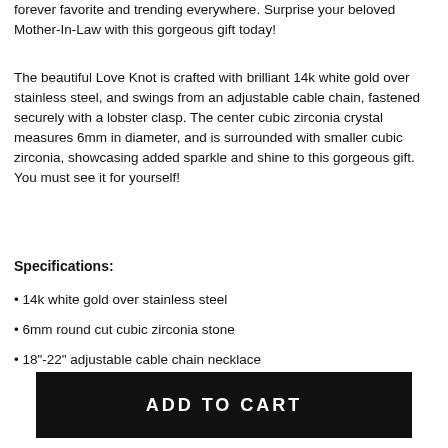forever favorite and trending everywhere. Surprise your beloved Mother-In-Law with this gorgeous gift today!
The beautiful Love Knot is crafted with brilliant 14k white gold over stainless steel, and swings from an adjustable cable chain, fastened securely with a lobster clasp. The center cubic zirconia crystal measures 6mm in diameter, and is surrounded with smaller cubic zirconia, showcasing added sparkle and shine to this gorgeous gift. You must see it for yourself!
Specifications:
14k white gold over stainless steel
6mm round cut cubic zirconia stone
18"-22" adjustable cable chain necklace
ADD TO CART